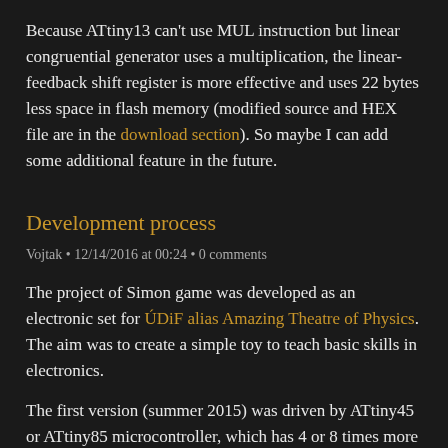Because ATtiny13 can't use MUL instruction but linear congruential generator uses a multiplication, the linear-feedback shift register is more effective and uses 22 bytes less space in flash memory (modified source and HEX file are in the download section). So maybe I can add some additional feature in the future.
Development process
Vojtak • 12/14/2016 at 00:24 • 0 comments
The project of Simon game was developed as an electronic set for ÚDiF alias Amazing Theatre of Physics. The aim was to create a simple toy to teach basic skills in electronics.
The first version (summer 2015) was driven by ATtiny45 or ATtiny85 microcontroller, which has 4 or 8 times more flash memory than ATtiny13. It used many not-so-much effective Arduino libraries.